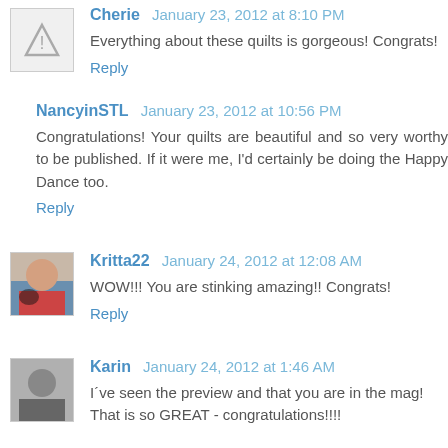Cherie  January 23, 2012 at 8:10 PM
Everything about these quilts is gorgeous! Congrats!
Reply
NancyinSTL  January 23, 2012 at 10:56 PM
Congratulations! Your quilts are beautiful and so very worthy to be published. If it were me, I'd certainly be doing the Happy Dance too.
Reply
Kritta22  January 24, 2012 at 12:08 AM
WOW!!! You are stinking amazing!! Congrats!
Reply
Karin  January 24, 2012 at 1:46 AM
I´ve seen the preview and that you are in the mag! That is so GREAT - congratulations!!!!